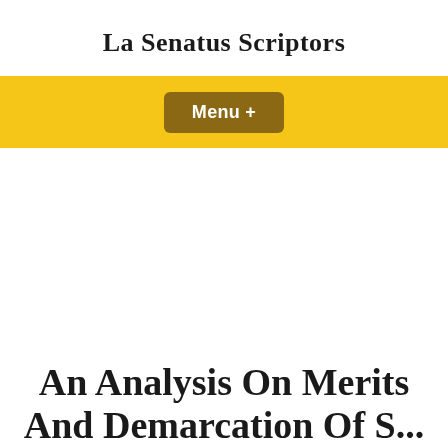La Senatus Scriptors
[Figure (other): Yellow navigation bar with a brown rounded button labeled 'Menu +']
An Analysis On Merits And Demarcation Of S...